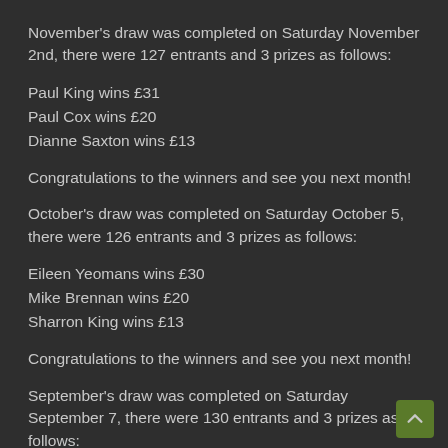November's draw was completed on Saturday November 2nd, there were 127 entrants and 3 prizes as follows:
Paul King wins £31
Paul Cox wins £20
Dianne Saxton wins £13
Congratulations to the winners and see you next month!
October's draw was completed on Saturday October 5, there were 126 entrants and 3 prizes as follows:
Eileen Yeomans wins £30
Mike Brennan wins £20
Sharron King wins £13
Congratulations to the winners and see you next month!
September's draw was completed on Saturday September 7, there were 130 entrants and 3 prizes as follows: